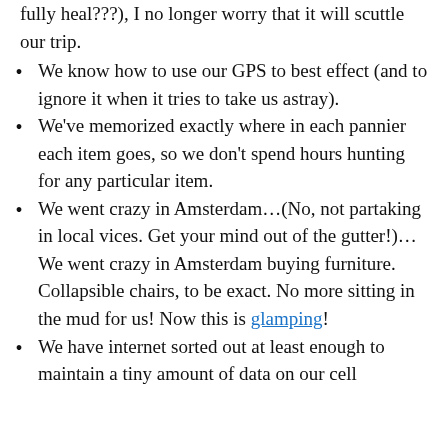fully heal???), I no longer worry that it will scuttle our trip.
We know how to use our GPS to best effect (and to ignore it when it tries to take us astray).
We’ve memorized exactly where in each pannier each item goes, so we don’t spend hours hunting for any particular item.
We went crazy in Amsterdam…(No, not partaking in local vices. Get your mind out of the gutter!)…We went crazy in Amsterdam buying furniture. Collapsible chairs, to be exact. No more sitting in the mud for us! Now this is glamping!
We have internet sorted out at least enough to maintain a tiny amount of data on our cell